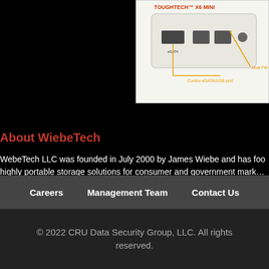[Figure (illustration): ToughTech X6 Mini product diagram showing front panel with eSATA port, Dual FW 800 ports, and Combo eSATA/USB port labels with callout lines.]
About WiebeTech
WebeTech LLC was founded in July 2000 by James Wiebe and has focused on highly portable storage solutions for consumer and government markets.
Note: ToughTech is a trademark of WiebeTech LLC. Other marks are property of their respective owners. All specifications and pricing are subject to change without notice.
###
Careers   Management Team   Contact Us
© 2022 CRU Data Security Group, LLC. All rights reserved.